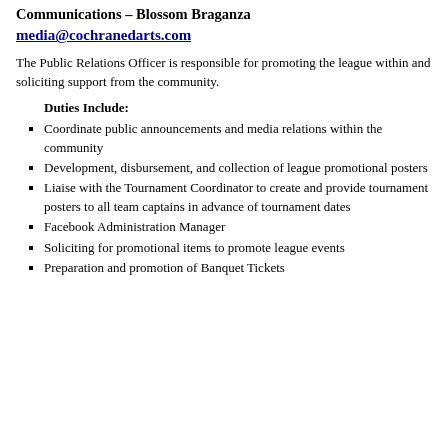Communications – Blossom Braganza
media@cochranedarts.com
The Public Relations Officer is responsible for promoting the league within and soliciting support from the community.
Duties Include:
Coordinate public announcements and media relations within the community
Development, disbursement, and collection of league promotional posters
Liaise with the Tournament Coordinator to create and provide tournament posters to all team captains in advance of tournament dates
Facebook Administration Manager
Soliciting for promotional items to promote league events
Preparation and promotion of Banquet Tickets